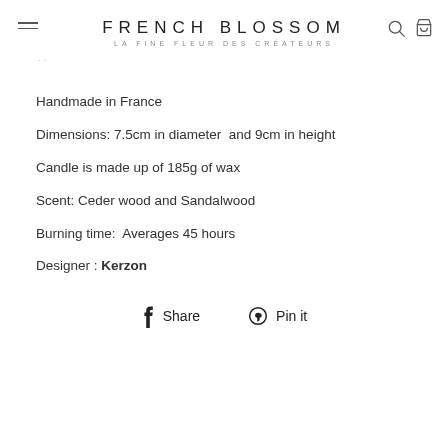FRENCH BLOSSOM
LA FINE FLEUR DES CRÉATEURS
Handmade in France
Dimensions: 7.5cm in diameter  and 9cm in height
Candle is made up of 185g of wax
Scent: Ceder wood and Sandalwood
Burning time:  Averages 45 hours
Designer : Kerzon